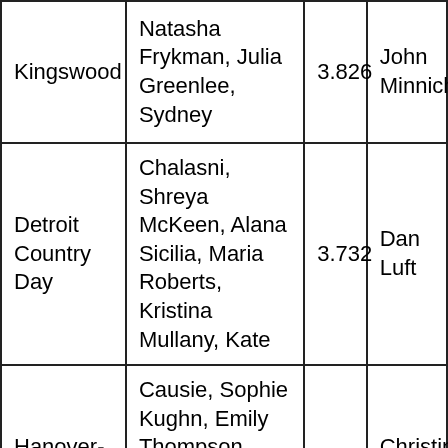| Kingswood | Natasha Frykman, Julia Greenlee, Sydney | 3.826 | John Minnich |
| Detroit Country Day | Chalasni, Shreya McKeen, Alana Sicilia, Maria Roberts, Kristina Mullany, Kate | 3.732 | Dan Luft |
| Hanover-Horton | Causie, Sophie Kughn, Emily Thompson, Kristen Finch, Sydney Miller, Holly | 3.930 | Christine Burger |
|  | Burns, Leanna |  |  |